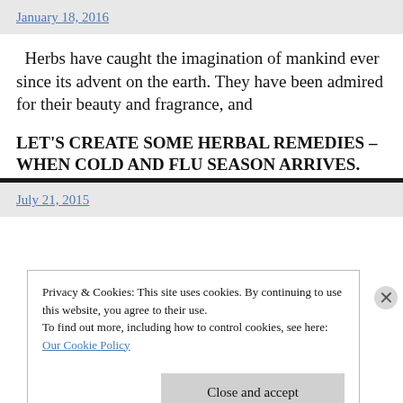January 18, 2016
Herbs have caught the imagination of mankind ever since its advent on the earth. They have been admired for their beauty and fragrance, and
LET'S CREATE SOME HERBAL REMEDIES – WHEN COLD AND FLU SEASON ARRIVES.
July 21, 2015
Privacy & Cookies: This site uses cookies. By continuing to use this website, you agree to their use.
To find out more, including how to control cookies, see here: Our Cookie Policy
Close and accept